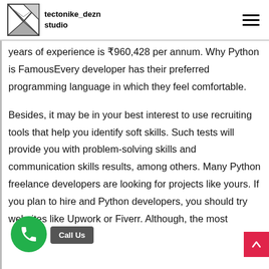tectonike_dezn studio
years of experience is ₹960,428 per annum. Why Python is FamousEvery developer has their preferred programming language in which they feel comfortable.
Besides, it may be in your best interest to use recruiting tools that help you identify soft skills. Such tests will provide you with problem-solving skills and communication skills results, among others. Many Python freelance developers are looking for projects like yours. If you plan to hire and Python developers, you should try websites like Upwork or Fiverr. Although, the most